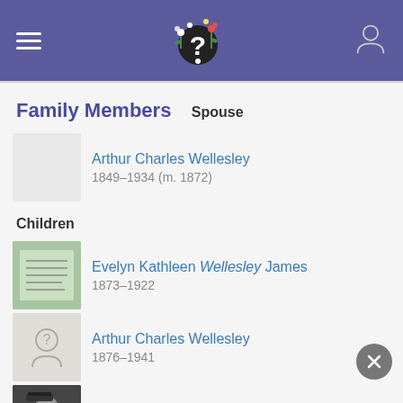Family Members genealogy app header
Family Members
Spouse
Arthur Charles Wellesley 1849–1934 (m. 1872)
Children
Evelyn Kathleen Wellesley James 1873–1922
Arthur Charles Wellesley 1876–1941
Richard Wellesley 1879–1914
Gerald Wellesley 1895–1972